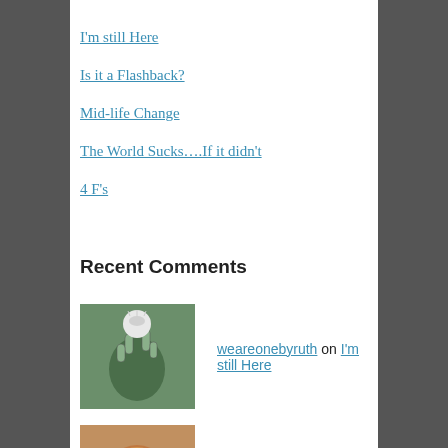I'm still Here
Is it a Flashback?
Mid-life Change
The World Sucks….If it didn't
4 F's
Recent Comments
weareonebyruth on I'm still Here
Marty on I'm still Here
Carol anne on No Courage
HealthTimes on Mid-life Change